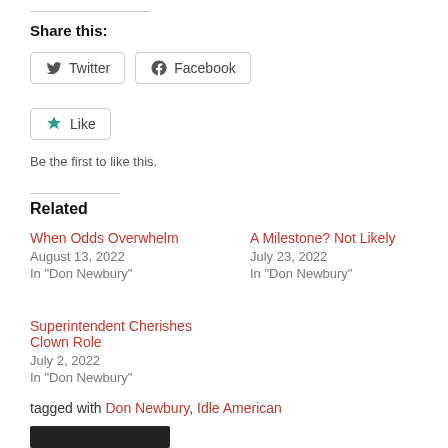Share this:
Twitter  Facebook
Like  Be the first to like this.
Related
When Odds Overwhelm
August 13, 2022
In "Don Newbury"
A Milestone? Not Likely
July 23, 2022
In "Don Newbury"
Superintendent Cherishes Clown Role
July 2, 2022
In "Don Newbury"
tagged with Don Newbury, Idle American